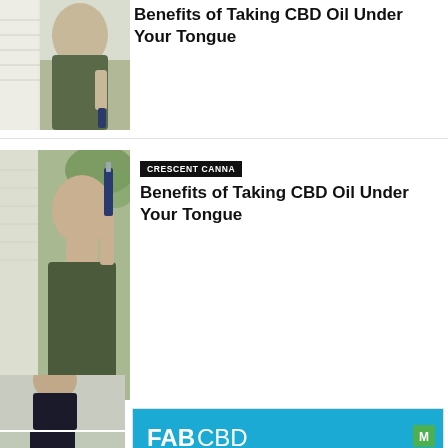[Figure (photo): Man tilting head back taking CBD oil drops under tongue, outdoor setting with white siding visible]
Benefits of Taking CBD Oil Under Your Tongue
[Figure (photo): Man tilting head back taking CBD oil drops under tongue, outdoor setting with greenery visible]
CRESCENT CANNA
Benefits of Taking CBD Oil Under Your Tongue
[Figure (advertisement): FAB CBD advertisement banner with blue header, orange background, text reading CHECKOUT & Relax, CBD oil bottle, pool floatie, cocktail decoration, and SHOP NOW button]
[Figure (photo): Partial photo of person in dark clothing, website article thumbnail]
[Figure (photo): Partial photo of person in dark clothing, website article thumbnail]